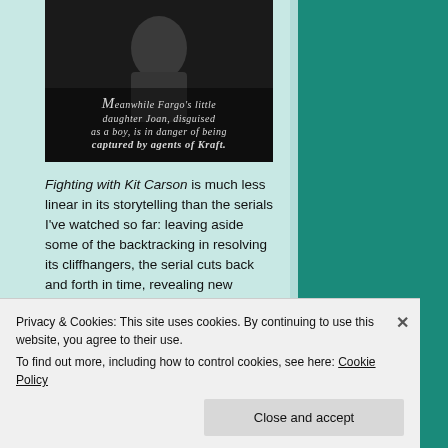[Figure (photo): Black and white still from a film or serial showing a child (boy or girl dressed as boy) with intertitle text reading: 'Meanwhile Fargo's little daughter Joan, disguised as a boy, is in danger of being captured by agents of Kraft.']
Fighting with Kit Carson is much less linear in its storytelling than the serials I've watched so far: leaving aside some of the backtracking in resolving its cliffhangers, the serial cuts back and forth in time, revealing new information about settled events, and the use of flashbacks is more extensive than the
Privacy & Cookies: This site uses cookies. By continuing to use this website, you agree to their use.
To find out more, including how to control cookies, see here: Cookie Policy
Close and accept